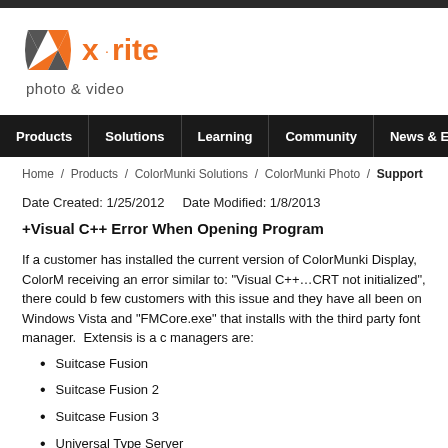[Figure (logo): X-Rite logo with orange X symbol and 'x·rite' wordmark, 'photo & video' tagline below]
Products | Solutions | Learning | Community | News & Events | S
Home / Products / ColorMunki Solutions / ColorMunki Photo / Support
Date Created: 1/25/2012   Date Modified: 1/8/2013
+Visual C++ Error When Opening Program
If a customer has installed the current version of ColorMunki Display, ColorM receiving an error similar to: "Visual C++…CRT not initialized", there could b few customers with this issue and they have all been on Windows Vista and "FMCore.exe" that installs with the third party font manager.  Extensis is a c managers are:
Suitcase Fusion
Suitcase Fusion 2
Suitcase Fusion 3
Universal Type Server